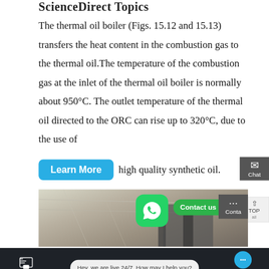ScienceDirect Topics
The thermal oil boiler (Figs. 15.12 and 15.13) transfers the heat content in the combustion gas to the thermal oil. The temperature of the combustion gas at the inlet of the thermal oil boiler is normally about 950°C. The outlet temperature of the thermal oil directed to the ORC can rise up to 320°C, due to the use of high quality synthetic oil.
[Figure (screenshot): A 'Learn More' button (blue, rounded) overlaid on the text, followed by inline text 'high quality synthetic oil.']
[Figure (photo): Interior photo of an industrial facility with large equipment/boiler visible, overlaid with a WhatsApp icon button and a green 'Contact us now!' button]
[Figure (screenshot): Bottom navigation bar with dark background showing: Send Message icon on left, chat bubble 'Hey, we are live 24/7. How may I help you?' in center, and Inquiry Online with blue chat circle on right]